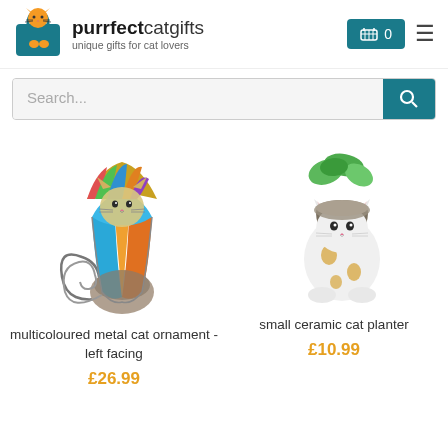purrfectcatgifts — unique gifts for cat lovers
Search...
[Figure (photo): Multicoloured metal cat ornament, left facing, with colourful glass body and curling tail]
multicoloured metal cat ornament - left facing
£26.99
[Figure (photo): Small ceramic white cat figurine acting as a planter, holding a pot with green plant]
small ceramic cat planter
£10.99